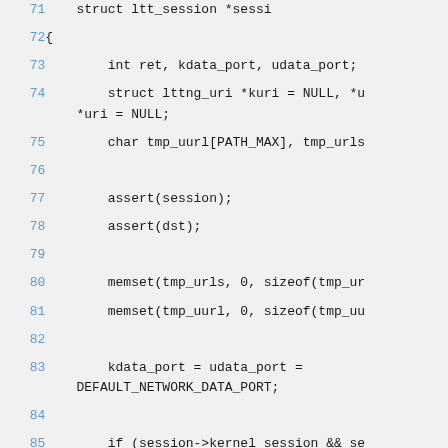[Figure (screenshot): Source code listing showing C code lines 71-85 with line numbers in blue on a light gray background. Lines include: struct ltt_session *sessi (line 71, partial), opening brace (line 72), int ret kdata_port udata_port (line 73), struct lttng_uri *kuri = NULL *u... (line 74), *uri = NULL; (continuation), char tmp_uurl[PATH_MAX] tmp_urls (line 75), blank line 76, assert(session); (line 77), assert(dst); (line 78), blank line 79, memset(tmp_urls 0 sizeof(tmp_ur (line 80), memset(tmp_uurl 0 sizeof(tmp_uu (line 81), blank line 82, kdata_port = udata_port = DEFAULT_NETWORK_DATA_PORT; (line 83), blank line 84, if (session->kernel_session && se (line 85).]